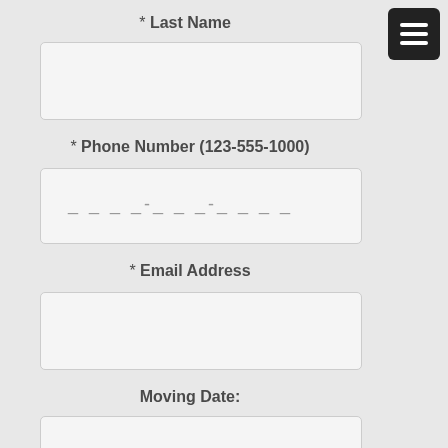* Last Name
* Phone Number (123-555-1000)
_ _ _ _-_ _ _-_ _ _ _
* Email Address
Moving Date:
* Moving From (Zip Code)